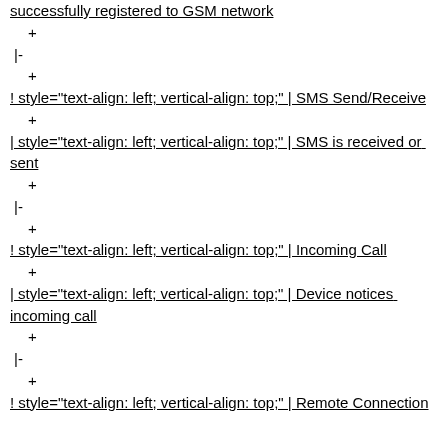successfully registered to GSM network
+
|-
+
! style="text-align: left; vertical-align: top;" | SMS Send/Receive
+
| style="text-align: left; vertical-align: top;" | SMS is received or sent
+
|-
+
! style="text-align: left; vertical-align: top;" | Incoming Call
+
| style="text-align: left; vertical-align: top;" | Device notices incoming call
+
|-
+
! style="text-align: left; vertical-align: top;" | Remote Connection